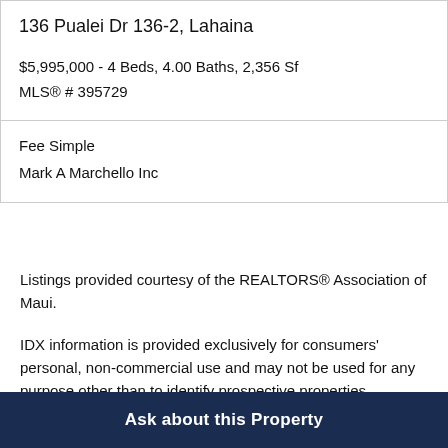| 136 Pualei Dr 136-2, Lahaina
$5,995,000 - 4 Beds, 4.00 Baths, 2,356 Sf
MLS® # 395729 |
| Fee Simple
Mark A Marchello Inc |
Listings provided courtesy of the REALTORS® Association of Maui.
IDX information is provided exclusively for consumers' personal, non-commercial use and may not be used for any purpose other than to identify prospective properties
Ask about this Property